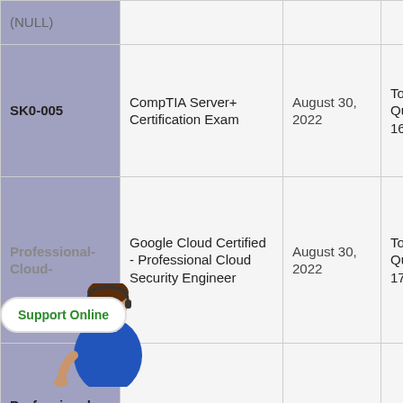| Exam Code | Exam Name | Date | Questions |
| --- | --- | --- | --- |
| (NULL) |  |  |  |
| SK0-005 | CompTIA Server+ Certification Exam | August 30, 2022 | Total Question: 160 |
| Professional-Cloud-... | Google Cloud Certified - Professional Cloud Security Engineer | August 30, 2022 | Total Question: 177 |
| Professional-Cloud-Database-Engineer | Google Cloud Certified - Professional Cloud Database Engineer | August 30, 2022 | Total Question: 120 |